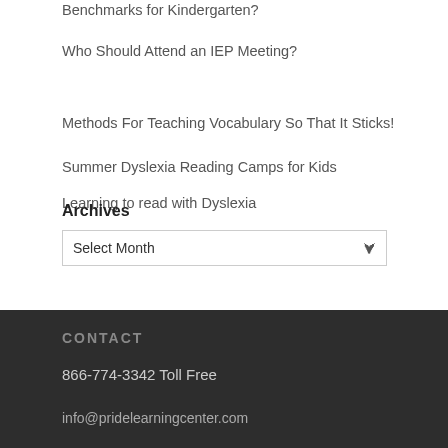Benchmarks for Kindergarten?
Who Should Attend an IEP Meeting?
Methods For Teaching Vocabulary So That It Sticks!
Summer Dyslexia Reading Camps for Kids
Learning to read with Dyslexia
Archives
Select Month
CONTACT
866-774-3342 Toll Free
info@pridelearningcenter.com